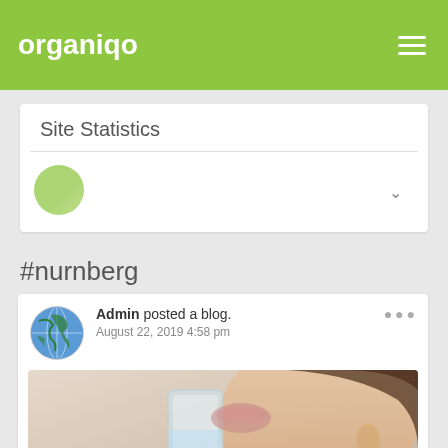organiqo
Site Statistics
[Figure (other): Site Statistics card with a green circular avatar/icon and a chevron dropdown indicator]
#nurnberg
Admin posted a blog. August 22, 2019 4:58 pm
[Figure (photo): Photo of a woman drinking a glass of water, close-up showing face and glass]